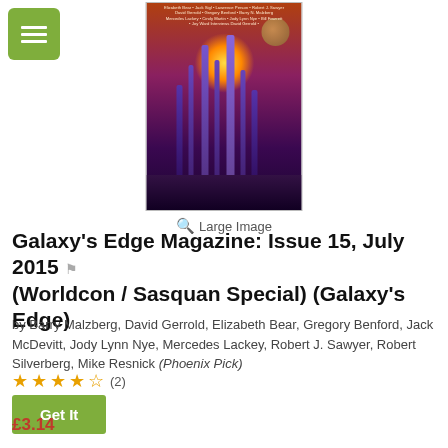[Figure (illustration): Book cover for Galaxy's Edge Magazine Issue 15, July 2015 showing a science fiction cityscape with tall spires against an orange/purple sky with a bright sun and planet/moon visible. Text at top lists authors and at bottom shows issue number.]
Large Image
Galaxy’s Edge Magazine: Issue 15, July 2015 (Worldcon / Sasquan Special) (Galaxy's Edge)
by Barry Malzberg, David Gerrold, Elizabeth Bear, Gregory Benford, Jack McDevitt, Jody Lynn Nye, Mercedes Lackey, Robert J. Sawyer, Robert Silverberg, Mike Resnick (Phoenix Pick)
★★★★½ (2)
Get It
£3.14
Share This